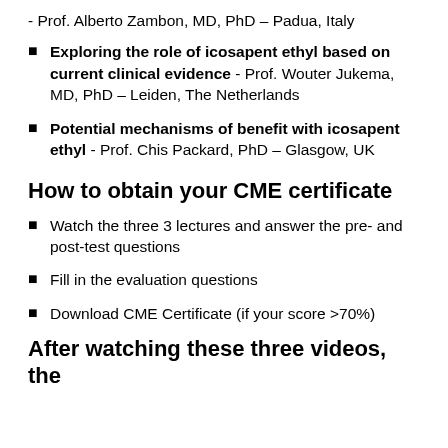- Prof. Alberto Zambon, MD, PhD – Padua, Italy
Exploring the role of icosapent ethyl based on current clinical evidence - Prof. Wouter Jukema, MD, PhD – Leiden, The Netherlands
Potential mechanisms of benefit with icosapent ethyl - Prof. Chis Packard, PhD – Glasgow, UK
How to obtain your CME certificate
Watch the three 3 lectures and answer the pre- and post-test questions
Fill in the evaluation questions
Download CME Certificate (if your score >70%)
After watching these three videos, the